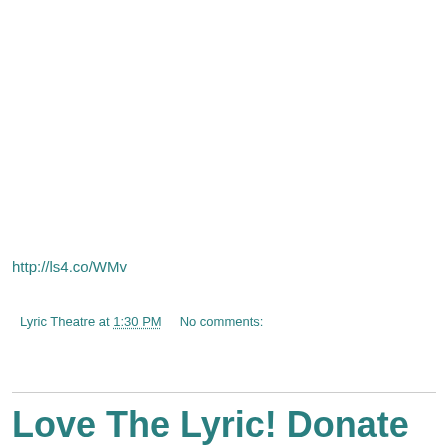http://ls4.co/WMv
Lyric Theatre at 1:30 PM    No comments:
Share
Love The Lyric! Donate on The Great Give, May 5th!